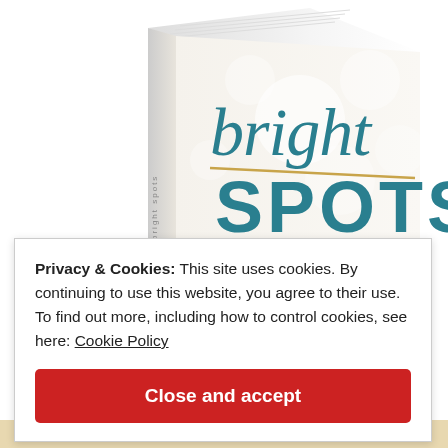[Figure (photo): A book cover showing the title 'bright SPOTS' in teal/gold script and block letters on a white/cream background with bokeh light effects. The book is shown at an angle with spine visible.]
Privacy & Cookies: This site uses cookies. By continuing to use this website, you agree to their use.
To find out more, including how to control cookies, see here: Cookie Policy
Close and accept